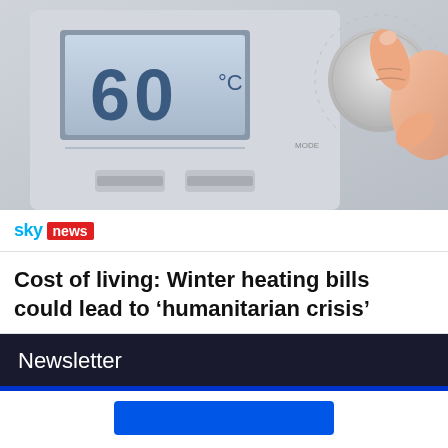[Figure (photo): Close-up photo of a boiler thermostat display showing 60°C, with a hand turning a dial/knob on the right side. The thermostat is white/grey with two buttons at the bottom.]
[Figure (logo): Sky News logo: 'sky' in blue text followed by 'news' in white text on a red badge/rectangle.]
Cost of living: Winter heating bills could lead to 'humanitarian crisis'
Newsletter